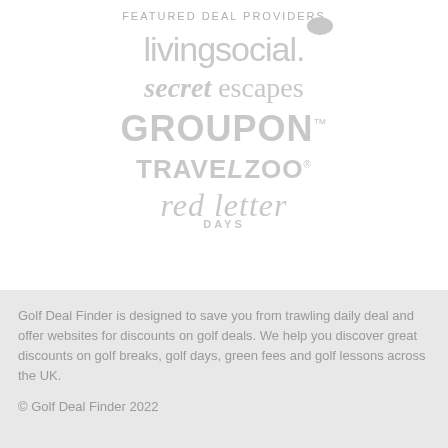FEATURED DEAL PROVIDERS
[Figure (logo): livingsocial logo in light gray with speech bubble icon]
[Figure (logo): secret escapes logo in light gray italic serif font]
[Figure (logo): GROUPON logo in light gray bold sans-serif with TM mark]
[Figure (logo): TRAVELZOO logo in light gray bold sans-serif with registered mark]
[Figure (logo): red letter DAYS logo in light gray serif italic with DAYS small caps]
Golf Deal Finder is designed to save you from trawling daily deal and offer websites for discounts on golf deals. We help you discover great discounts on golf breaks, golf days, green fees and golf lessons across the UK.
© Golf Deal Finder 2022